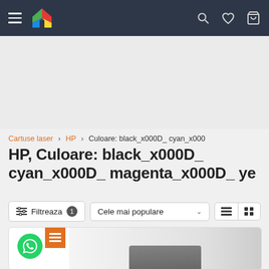[Figure (screenshot): Website navigation bar with hamburger menu, colorful house logo, search icon, heart icon, and shopping cart icon on dark background]
[Figure (other): Advertisement banner area (gray/blank)]
Cartuse laser > HP > Culoare: black_x000D_ cyan_x000
HP, Culoare: black_x000D_ cyan_x000D_ magenta_x000D_ ye
Filtreaza 1  |  Cele mai populare  |  list view / grid view buttons
[Figure (screenshot): Partial product card with orange promo badge and product image preview, WhatsApp chat button overlay]